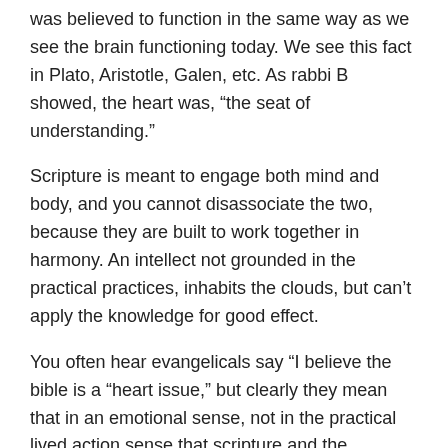was believed to function in the same way as we see the brain functioning today. We see this fact in Plato, Aristotle, Galen, etc. As rabbi B showed, the heart was, “the seat of understanding.”
Scripture is meant to engage both mind and body, and you cannot disassociate the two, because they are built to work together in harmony. An intellect not grounded in the practical practices, inhabits the clouds, but can’t apply the knowledge for good effect.
You often hear evangelicals say “I believe the bible is a “heart issue,” but clearly they mean that in an emotional sense, not in the practical lived action sense that scripture and the ancients meant it.